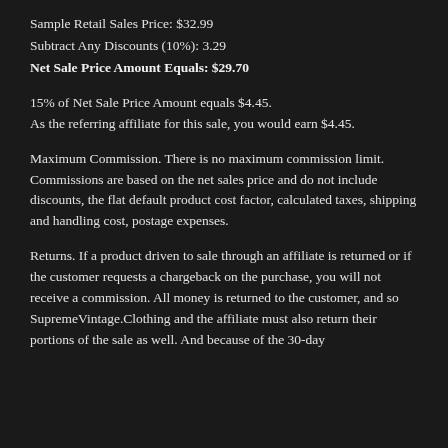Sample Retail Sales Price: $32.99
Subtract Any Discounts (10%): 3.29
Net Sale Price Amount Equals: $29.70
15% of Net Sale Price Amount equals $4.45.
As the referring affiliate for this sale, you would earn $4.45.
Maximum Commission. There is no maximum commission limit. Commissions are based on the net sales price and do not include discounts, the flat default product cost factor, calculated taxes, shipping and handling cost, postage expenses.
Returns. If a product driven to sale through an affiliate is returned or if the customer requests a chargeback on the purchase, you will not receive a commission. All money is returned to the customer, and so SupremeVintage.Clothing and the affiliate must also return their portions of the sale as well. And because of the 30-day